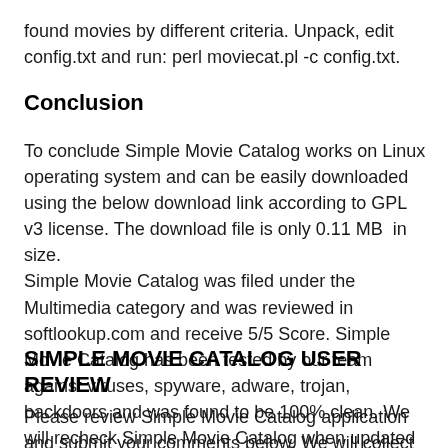found movies by different criteria. Unpack, edit config.txt and run: perl moviecat.pl -c config.txt.
Conclusion
To conclude Simple Movie Catalog works on Linux operating system and can be easily downloaded using the below download link according to GPL v3 license. The download file is only 0.11 MB  in size.
Simple Movie Catalog was filed under the Multimedia category and was reviewed in softlookup.com and receive 5/5 Score. Simple Movie Catalog has been tested by our team against viruses, spyware, adware, trojan, backdoors and was found to be 100% clean. We will recheck Simple Movie Catalog when updated to assure that it remains clean.
SIMPLE MOVIE CATALOG USER REVIEW
Please review Simple Movie Catalog application and submit your comments below. We will collect all comments in an effort